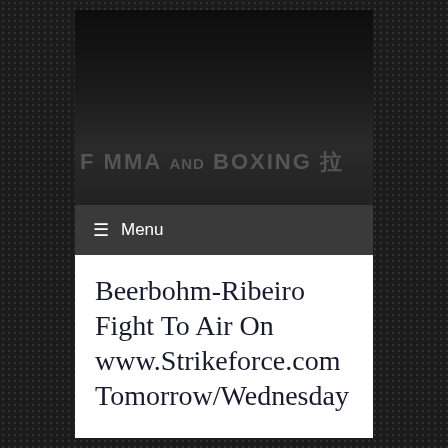[Figure (screenshot): Website header with dark background showing 'f MMA and Boxing' text with a martial arts figure icon, on a dark gradient image]
≡ Menu
Beerbohm-Ribeiro Fight To Air On www.Strikeforce.com Tomorrow/Wednesday